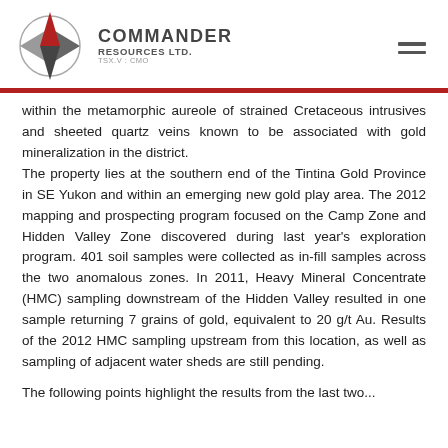[Figure (logo): Commander Resources Ltd. logo with compass rose / star graphic, company name, TSX.V: CMO ticker]
within the metamorphic aureole of strained Cretaceous intrusives and sheeted quartz veins known to be associated with gold mineralization in the district.
The property lies at the southern end of the Tintina Gold Province in SE Yukon and within an emerging new gold play area. The 2012 mapping and prospecting program focused on the Camp Zone and Hidden Valley Zone discovered during last year's exploration program. 401 soil samples were collected as in-fill samples across the two anomalous zones. In 2011, Heavy Mineral Concentrate (HMC) sampling downstream of the Hidden Valley resulted in one sample returning 7 grains of gold, equivalent to 20 g/t Au. Results of the 2012 HMC sampling upstream from this location, as well as sampling of adjacent water sheds are still pending.
The following points highlight the results from the last two...